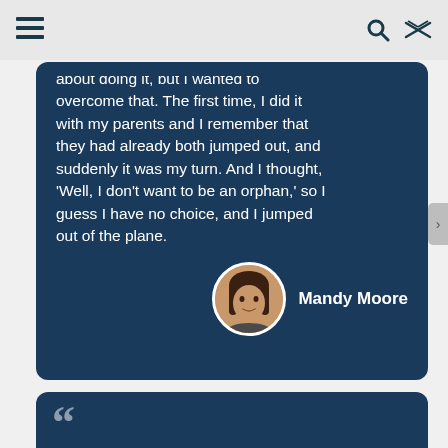≡   🔍   ⇌
about doing it, but I wanted to overcome that. The first time, I did it with my parents and I remember that they had already both jumped out, and suddenly it was my turn. And I thought, 'Well, I don't want to be an orphan,' so I guess I have no choice, and I jumped out of the plane.
Mandy Moore
I've had fun doing romantic comedies, but I just can't anymore. There's nothing fulfilling creatively, there's nowhere to grow, nothing to learn